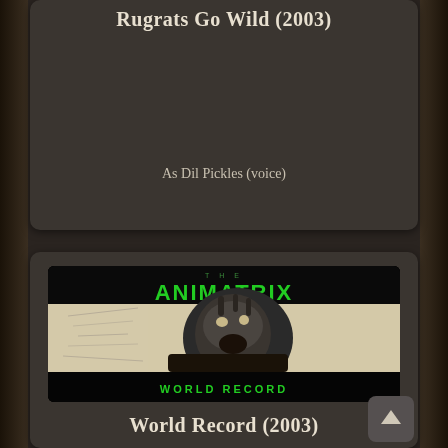Rugrats Go Wild (2003)
As Dil Pickles (voice)
[Figure (photo): The Animatrix World Record poster — green stylized 'ANIMATRIX' logo at top, animated figure of a screaming runner in grey/black tones, 'WORLD RECORD' text at bottom in green on black background]
World Record (2003)